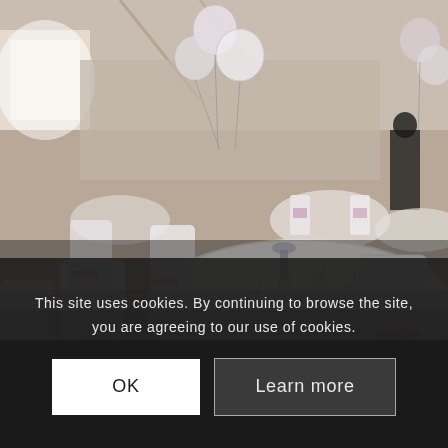[Figure (photo): A wedding reception banquet hall with round tables covered in white tablecloths, white chair covers with pink/purple sashes tied in bows, and balloon centerpieces with white and clear balloons. The venue has high ceilings with natural light coming through windows.]
This site uses cookies. By continuing to browse the site, you are agreeing to our use of cookies.
OK
Learn more